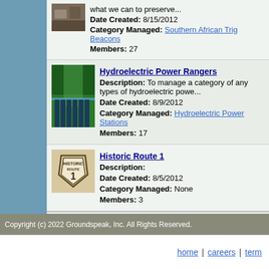what we can to preserve...
Date Created: 8/15/2012
Category Managed: Southern African Trig Beacons
Members: 27
[Figure (photo): Hydroelectric power station image]
Hydroelectric Power Rangers
Description: To manage a category of any types of hydroelectric powe...
Date Created: 8/9/2012
Category Managed: Hydroelectric Power Stations
Members: 17
[Figure (logo): Historic Route 1 shield sign]
Historic Route 1
Description:
Date Created: 8/5/2012
Category Managed: None
Members: 3
Total Records: 2000 Page: 13 of 80  prev << <[11 12...]
Copyright (c) 2022 Groundspeak, Inc. All Rights Reserved.
home | careers | term